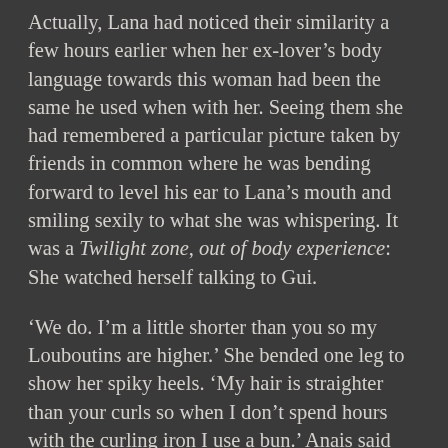Actually, Lana had noticed their similarity a few hours earlier when her ex-lover’s body language towards this woman had been the same he used when with her. Seeing them she had remembered a particular picture taken by friends in common where he was bending forward to level his ear to Lana’s mouth and smiling sexily to what she was whispering. It was a Twilight zone, out of body experience: She watched herself talking to Gui.
‘We do. I’m a little shorter than you so my Louboutins are higher.’ She bended one leg to show her spiky heels. ‘My hair is straighter than your curls so when I don’t spend hours with the curling iron I use a bun.’ Anais said and twisted her head so Lana would see the hairdo. ‘Also I’m two years younger and a little thinner.’ She finished.
Lana didn’t have to be facing the mirror to be assured her face had fallen...